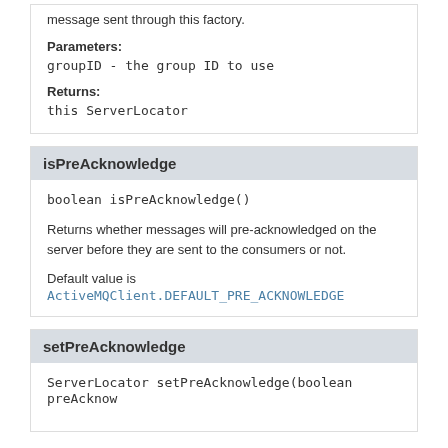message sent through this factory.
Parameters:
groupID - the group ID to use
Returns:
this ServerLocator
isPreAcknowledge
boolean isPreAcknowledge()
Returns whether messages will pre-acknowledged on the server before they are sent to the consumers or not.
Default value is ActiveMQClient.DEFAULT_PRE_ACKNOWLEDGE
setPreAcknowledge
ServerLocator setPreAcknowledge(boolean preAcknow